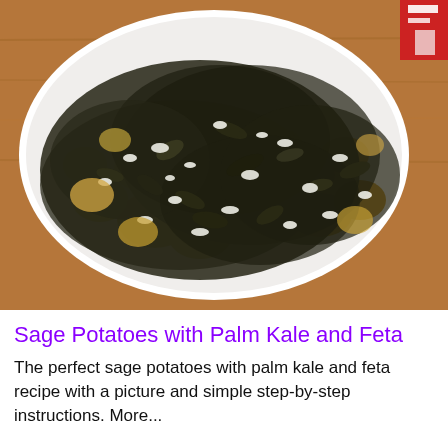[Figure (photo): A white bowl filled with sage potatoes mixed with dark palm kale and crumbled white feta cheese, set on a wooden table surface. A red and white item is partially visible in the top right corner.]
Sage Potatoes with Palm Kale and Feta
The perfect sage potatoes with palm kale and feta recipe with a picture and simple step-by-step instructions. More...